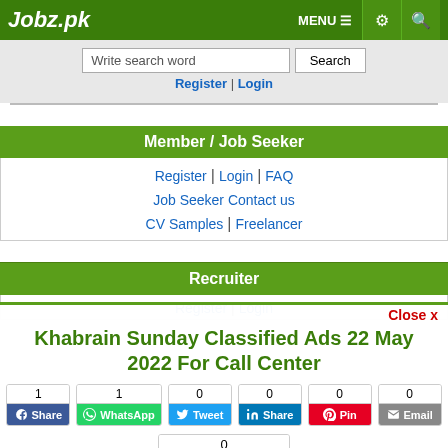Jobz.pk — MENU | settings | search
Write search word | Search
Register | Login
Member / Job Seeker
Register | Login | FAQ
Job Seeker Contact us
CV Samples | Freelancer
Recruiter
Register | Login
Khabrain Sunday Classified Ads 22 May 2022 For Call Center
1 Share | 1 WhatsApp | 0 Tweet | 0 Share | 0 Pin | 0 Email | 0 Recommend
Job Closed | Save | Comment | Print | ^